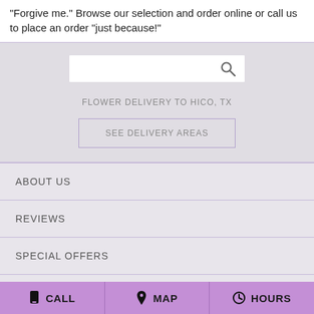"Forgive me." Browse our selection and order online or call us to place an order "just because!"
[Figure (screenshot): Search bar with magnifying glass icon on gray background]
FLOWER DELIVERY TO HICO, TX
SEE DELIVERY AREAS
ABOUT US
REVIEWS
SPECIAL OFFERS
CONTACT US
📱 CALL   📍 MAP   🕐 HOURS